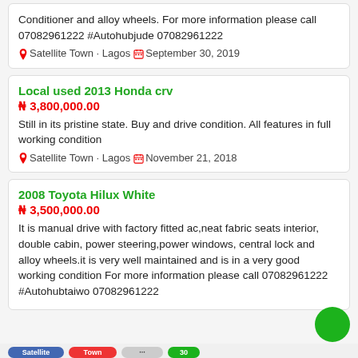Conditioner and alloy wheels. For more information please call 07082961222 #Autohubjude 07082961222
Satellite Town · Lagos  September 30, 2019
Local used 2013 Honda crv
₦ 3,800,000.00
Still in its pristine state. Buy and drive condition. All features in full working condition
Satellite Town · Lagos  November 21, 2018
2008 Toyota Hilux White
₦ 3,500,000.00
It is manual drive with factory fitted ac,neat fabric seats interior, double cabin, power steering,power windows, central lock and alloy wheels.it is very well maintained and is in a very good working condition For more information please call 07082961222 #Autohubtaiwo 07082961222